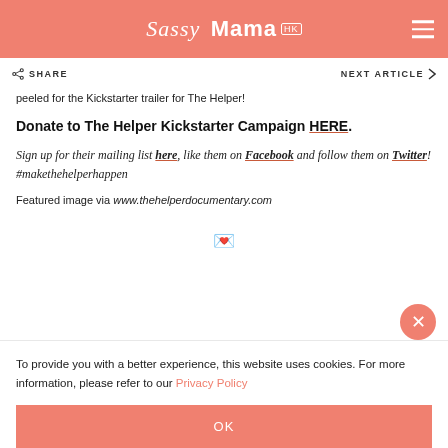Sassy Mama HK
SHARE   NEXT ARTICLE
peeled for the Kickstarter trailer for The Helper!
Donate to The Helper Kickstarter Campaign HERE.
Sign up for their mailing list here, like them on Facebook and follow them on Twitter! #makethehelperhappen
Featured image via www.thehelperdocumentary.com
To provide you with a better experience, this website uses cookies. For more information, please refer to our Privacy Policy
OK